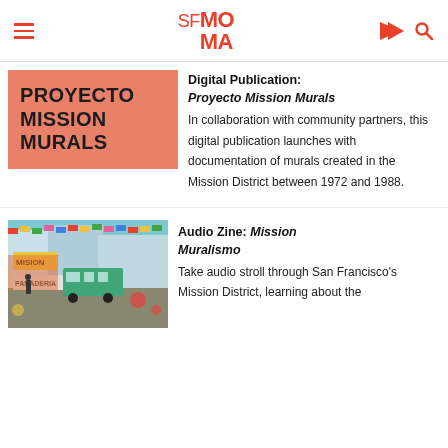SFMOMA
PROYECTO MISSION MURALS
Digital Publication: Proyecto Mission Murals
In collaboration with community partners, this digital publication launches with documentation of murals created in the Mission District between 1972 and 1988.
[Figure (photo): Street scene in San Francisco's Mission District showing colorful storefronts, a bus, and a panaderia sign]
Audio Zine: Mission Muralismo
Take audio stroll through San Francisco's Mission District, learning about the